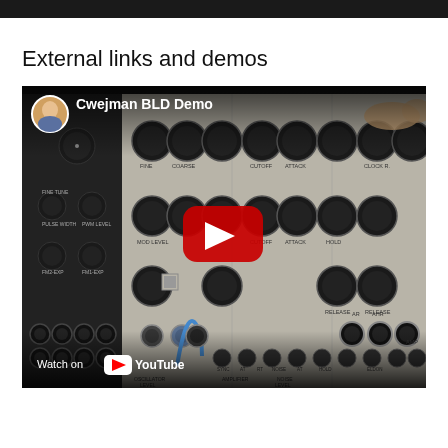External links and demos
[Figure (screenshot): YouTube video thumbnail for 'Cwejman BLD Demo' showing a modular synthesizer panel with numerous knobs and patch cables, with a YouTube play button overlay and 'Watch on YouTube' text at the bottom left.]